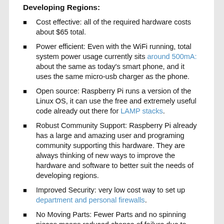Developing Regions:
Cost effective: all of the required hardware costs about $65 total.
Power efficient: Even with the WiFi running, total system power usage currently sits around 500mA: about the same as today's smart phone, and it uses the same micro-usb charger as the phone.
Open source: Raspberry Pi runs a version of the Linux OS, it can use the free and extremely useful code already out there for LAMP stacks.
Robust Community Support: Raspberry Pi already has a large and amazing user and programing community supporting this hardware. They are always thinking of new ways to improve the hardware and software to better suit the needs of developing regions.
Improved Security: very low cost way to set up department and personal firewalls.
No Moving Parts: Fewer Parts and no spinning pieces means reduced chance of failure due to factors such as extreme weather and intermittent